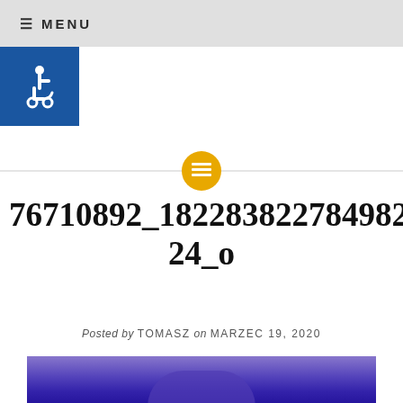≡ MENU
[Figure (illustration): Blue square with white wheelchair accessibility icon]
[Figure (other): Horizontal divider line with gold/amber circle containing white lines icon in the center]
76710892_1822838227849825_358398889067202314 24_0
Posted by TOMASZ on MARZEC 19, 2020
[Figure (photo): Interior photo of a room with arched doorway/window lit with blue/purple ambient lighting]